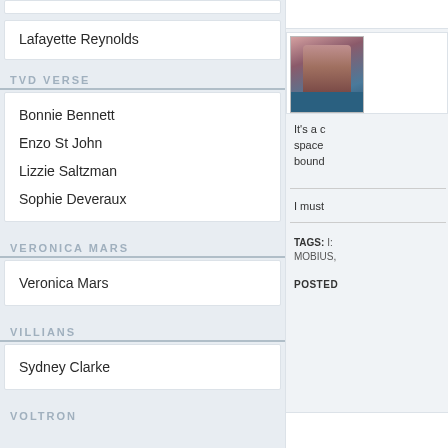Lafayette Reynolds
TVD VERSE
Bonnie Bennett
Enzo St John
Lizzie Saltzman
Sophie Deveraux
VERONICA MARS
Veronica Mars
VILLIANS
Sydney Clarke
VOLTRON
[Figure (photo): Portrait photo of a woman with dark hair]
It's a c space bound
I must
TAGS: I MOBIUS,
POSTED